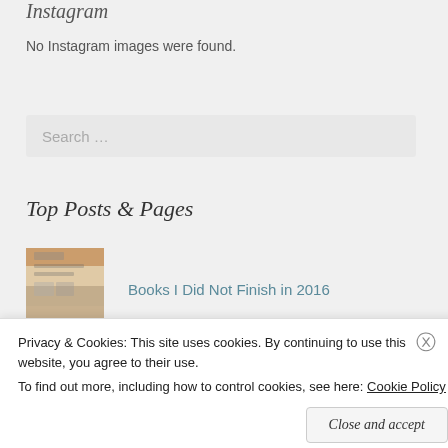Instagram
No Instagram images were found.
Search …
Top Posts & Pages
[Figure (photo): Thumbnail image for 'Books I Did Not Finish in 2016' post]
Books I Did Not Finish in 2016
[Figure (photo): Thumbnail image for 'Top Ten Creepy Covers - Top Ten Tuesday' post]
Top Ten Creepy Covers - Top Ten Tuesday
Privacy & Cookies: This site uses cookies. By continuing to use this website, you agree to their use.
To find out more, including how to control cookies, see here: Cookie Policy
Close and accept